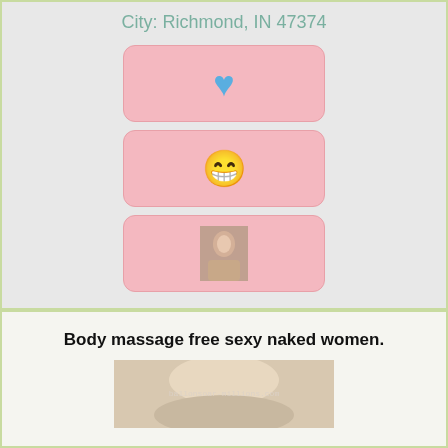City: Richmond, IN 47374
[Figure (illustration): Pink rounded rectangle card with a blue heart icon]
[Figure (illustration): Pink rounded rectangle card with a grinning emoji icon]
[Figure (photo): Pink rounded rectangle card with a small thumbnail photo of a person]
Body massage free sexy naked women.
[Figure (photo): Partial photo of a blonde person with watermark text 'ballonsoar-millions.com']